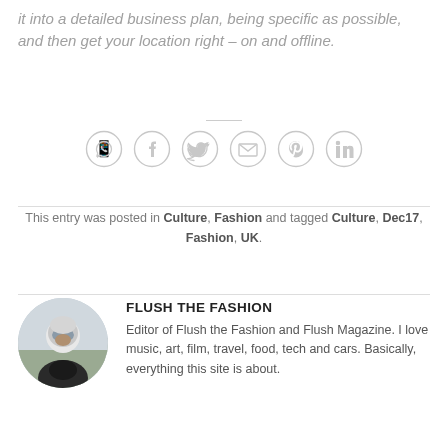it into a detailed business plan, being specific as possible, and then get your location right – on and offline.
[Figure (infographic): Row of six social sharing icons (WhatsApp, Facebook, Twitter, Email, Pinterest, LinkedIn) as outlined circles with icons inside]
This entry was posted in Culture, Fashion and tagged Culture, Dec17, Fashion, UK.
FLUSH THE FASHION
Editor of Flush the Fashion and Flush Magazine. I love music, art, film, travel, food, tech and cars. Basically, everything this site is about.